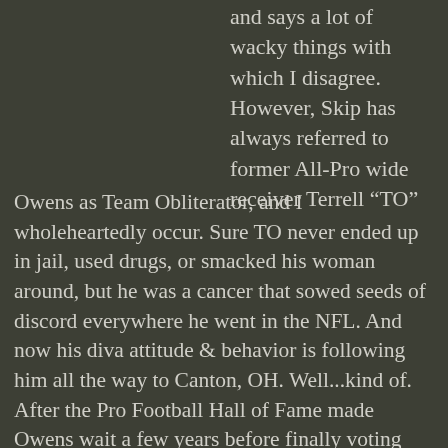and says a lot of wacky things with which I disagree. However, Skip has always referred to former All-Pro wide receiver Terrell “TO” Owens as Team Obliterator, and I wholeheartedly occur. Sure TO never ended up in jail, used drugs, or smacked his woman around, but he was a cancer that sowed seeds of discord everywhere he went in the NFL. And now his diva attitude & behavior is following him all the way to Canton, OH. Well...kind of. After the Pro Football Hall of Fame made Owens wait a few years before finally voting him into their exclusive club a few months ago the perpetually disgruntled malcontent found a way to ruin what should have been his shining moment by announcing that he will not attend